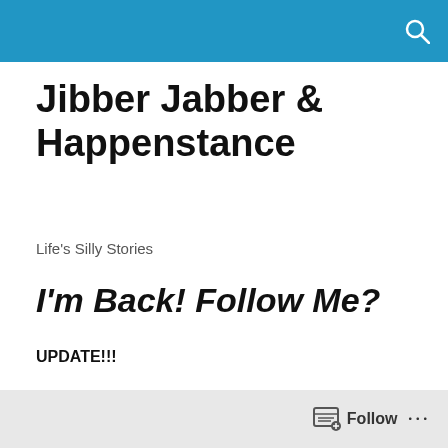Jibber Jabber & Happenstance
Life's Silly Stories
I'm Back! Follow Me?
UPDATE!!!
Ok so!
My first blogging experience didn't last long… at all so  I'm giving it another go!  I started this blog in 2010 before the
Follow